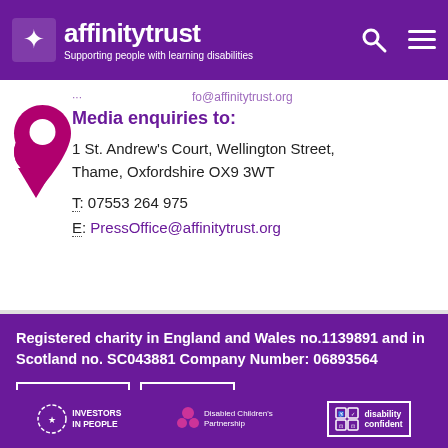affinitytrust – Supporting people with learning disabilities
info@affinitytrust.org (truncated)
Media enquiries to:
1 St. Andrew's Court, Wellington Street, Thame, Oxfordshire OX9 3WT
T: 07553 264 975
E: PressOffice@affinitytrust.org
Registered charity in England and Wales no.1139891 and in Scotland no. SC043881 Company Number: 06893564
Our policies
Site map
[Figure (logo): Investors in People logo, Disabled Children's Partnership logo, Disability Confident logo]